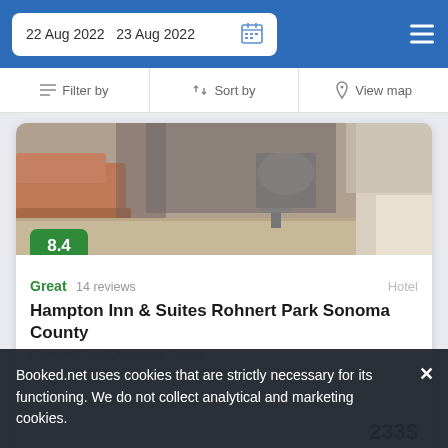22 Aug 2022  23 Aug 2022
Filter by  Sort by  View map
[Figure (photo): Hotel room interior photo showing a desk area with a chair, hardwood floor, and part of an orange/brown couch on the left]
8.4
Great  14 reviews   Hotel
Hampton Inn & Suites Rohnert Park Sonoma County
Rohnert Park, CA, United States
233$
Booked.net uses cookies that are strictly necessary for its functioning. We do not collect analytical and marketing cookies.